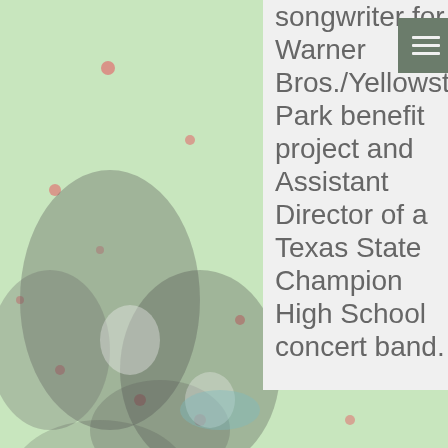[Figure (photo): Blurred background image with light green color and red/orange dot patterns, with blurred black-and-white imagery on the left side suggesting musicians or performers]
songwriter for Warner Bros./Yellowstone Park benefit project and Assistant Director of a Texas State Champion High School concert band.